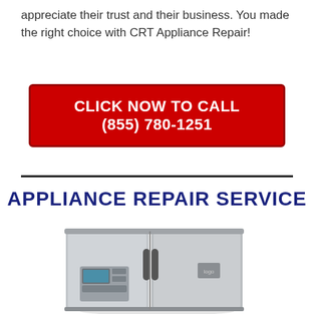appreciate their trust and their business. You made the right choice with CRT Appliance Repair!
[Figure (other): Red CTA button with white bold text: CLICK NOW TO CALL (855) 780-1251]
APPLIANCE REPAIR SERVICE
[Figure (photo): Stainless steel French door refrigerator with water/ice dispenser on the left door.]